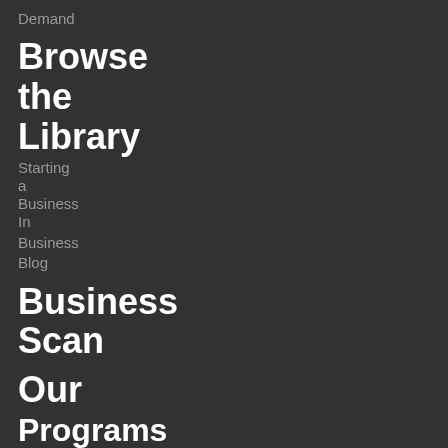Demand
Browse the Library
Starting a Business In
Business
Blog
Business Scan
Our
Programs